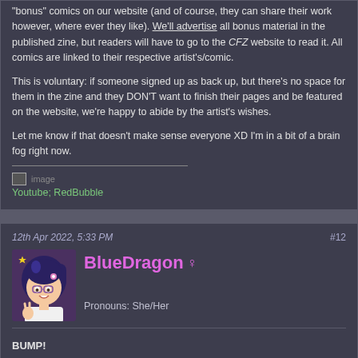"bonus" comics on our website (and of course, they can share their work however, where ever they like). We'll advertise all bonus material in the published zine, but readers will have to go to the CFZ website to read it. All comics are linked to their respective artist's/comic.
This is voluntary: if someone signed up as back up, but there's no space for them in the zine and they DON'T want to finish their pages and be featured on the website, we're happy to abide by the artist's wishes.
Let me know if that doesn't make sense everyone XD I'm in a bit of a brain fog right now.
[Figure (photo): Small image placeholder icon]
Youtube; RedBubble
12th Apr 2022, 5:33 PM   #12
BlueDragon ♀
Pronouns: She/Her
BUMP!